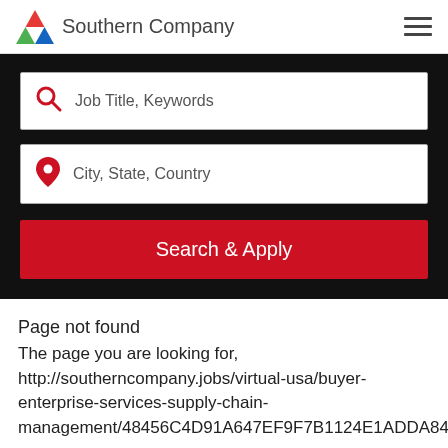[Figure (logo): Southern Company logo with red/blue/green triangle and company name text]
[Figure (screenshot): Job search interface with two input fields (Job Title Keywords and City State Country) and a red Search & Apply button on black background]
Page not found
The page you are looking for, http://southerncompany.jobs/virtual-usa/buyer-enterprise-services-supply-chain-management/48456C4D91A647EF9F7B1124E1ADDA84/job/,